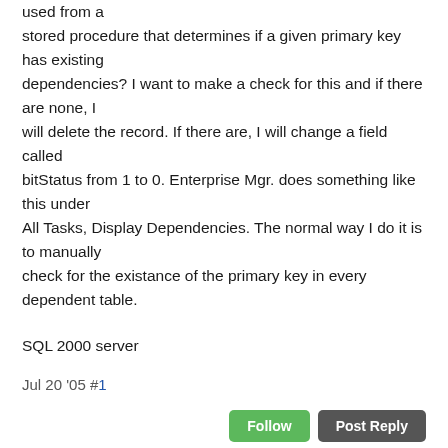used from a stored procedure that determines if a given primary key has existing dependencies? I want to make a check for this and if there are none, I will delete the record. If there are, I will change a field called bitStatus from 1 to 0. Enterprise Mgr. does something like this under All Tasks, Display Dependencies. The normal way I do it is to manually check for the existance of the primary key in every dependent table.
SQL 2000 server
Jul 20 '05 #1